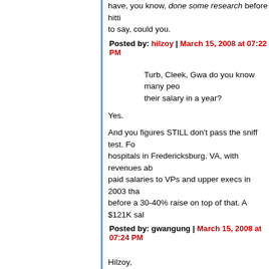have, you know, done some research before hitting to say, could you.
Posted by: hilzoy | March 15, 2008 at 07:22 PM
Turb, Cleek, Gwa do you know many people who earn their salary in a year?
Yes.
And you figures STILL don't pass the sniff test. For hospitals in Fredericksburg, VA, with revenues ab... paid salaries to VPs and upper execs in 2003 tha... before a 30-40% raise on top of that. A $121K sal...
Posted by: gwangung | March 15, 2008 at 07:24 PM
Hilzoy,
So after she got her big raise he did try to get it. H... days ago it got killed due to others and not himse...
So the story was accurate, but I should have said bucks for the hospital his wife worked at?"